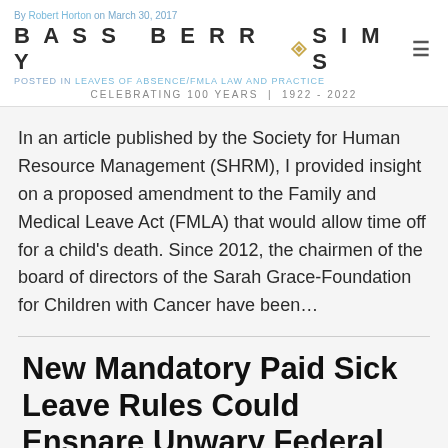By Robert Horton on March 30, 2017 | BASS BERRY SIMS | POSTED IN LEAVES OF ABSENCE/FMLA LAW AND PRACTICE | CELEBRATING 100 YEARS | 1922-2022
In an article published by the Society for Human Resource Management (SHRM), I provided insight on a proposed amendment to the Family and Medical Leave Act (FMLA) that would allow time off for a child's death. Since 2012, the chairmen of the board of directors of the Sarah Grace-Foundation for Children with Cancer have been…
New Mandatory Paid Sick Leave Rules Could Ensnare Unwary Federal Contractors